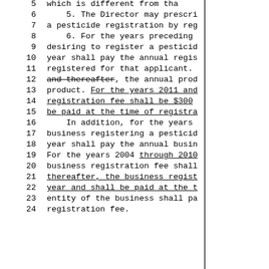5    which is different from tha
6    5. The Director may prescri
7    a pesticide registration by reg
8    6. For the years preceding
9    desiring to register a pesticid
10   year shall pay the annual regis
11   registered for that applicant.
12   and thereafter, the annual prod
13   product. For the years 2011 and
14   registration fee shall be $300
15   be paid at the time of registra
16   In addition, for the years
17   business registering a pesticid
18   year shall pay the annual busin
19   For the years 2004 through 2010
20   business registration fee shall
21   thereafter, the business regist
22   year and shall be paid at the t
23   entity of the business shall pa
24   registration fee.